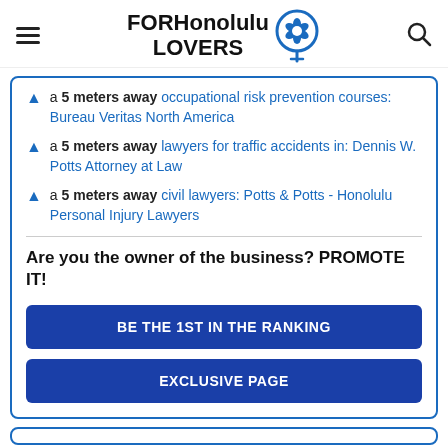FORHonolulu LOVERS
a 5 meters away occupational risk prevention courses: Bureau Veritas North America
a 5 meters away lawyers for traffic accidents in: Dennis W. Potts Attorney at Law
a 5 meters away civil lawyers: Potts & Potts - Honolulu Personal Injury Lawyers
Are you the owner of the business? PROMOTE IT!
BE THE 1ST IN THE RANKING
EXCLUSIVE PAGE